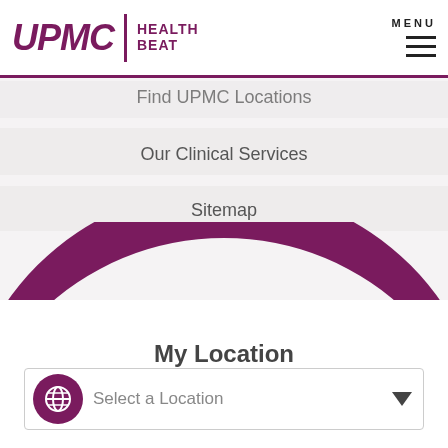UPMC | HEALTH BEAT
Find UPMC Locations
Our Clinical Services
Sitemap
[Figure (illustration): Large purple semi-circular arch decorative element]
My Location
Select a Location